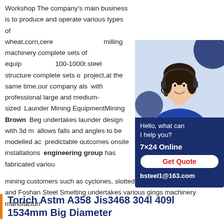Workshop The company's main business is to produce and operate various types of wheat,corn,cere... milling machinery complete sets of equip... 100-1000t steel structure complete sets of... project,at the same time,our company also... with professional large and medium-sized... Launder Mining EquipmentMining Brown... Beg undertakes launder design with 3d m... allows falls and angles to be modelled ac... predictable outcomes onsite installations... engineering group has fabricated various... mining customers such as cyclones, slotted trommels, linear screens and Foshan Steel Smelting undertakes various gings machinery manufacturi
[Figure (other): Customer service chat widget with a photo of a woman wearing a headset, text 'Hello, what can I help you?', '7x24 Online', 'Get Quote' button, and 'bsteel1@163.com' on a dark blue background.]
Torich Astm A358 Jis3468 304l 409l 1534mm Big Diameter